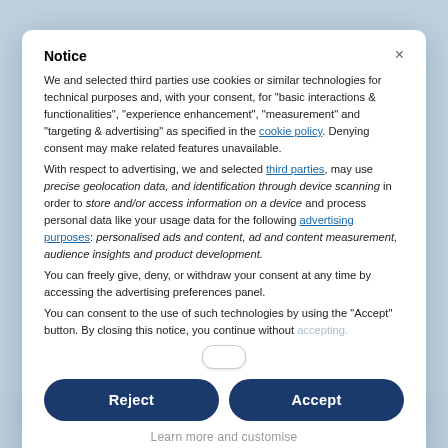[Figure (screenshot): Background page with municipality citizen campaign website, faded behind modal overlay]
Notice
We and selected third parties use cookies or similar technologies for technical purposes and, with your consent, for "basic interactions & functionalities", "experience enhancement", "measurement" and "targeting & advertising" as specified in the cookie policy. Denying consent may make related features unavailable.
With respect to advertising, we and selected third parties, may use precise geolocation data, and identification through device scanning in order to store and/or access information on a device and process personal data like your usage data for the following advertising purposes: personalised ads and content, ad and content measurement, audience insights and product development.
You can freely give, deny, or withdraw your consent at any time by accessing the advertising preferences panel.
You can consent to the use of such technologies by using the "Accept" button. By closing this notice, you continue without accepting.
Reject
Accept
Learn more and customise